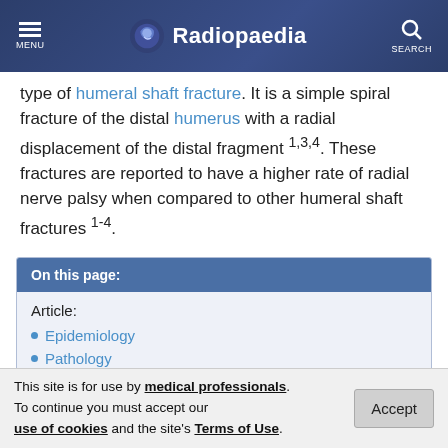MENU | Radiopaedia | SEARCH
type of humeral shaft fracture. It is a simple spiral fracture of the distal humerus with a radial displacement of the distal fragment 1,3,4. These fractures are reported to have a higher rate of radial nerve palsy when compared to other humeral shaft fractures 1-4.
On this page:
Article:
Epidemiology
Pathology
This site is for use by medical professionals. To continue you must accept our use of cookies and the site's Terms of Use.